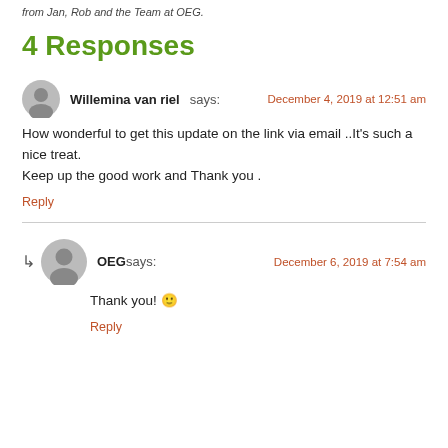from Jan, Rob and the Team at OEG.
4 Responses
Willemina van riel says:
December 4, 2019 at 12:51 am
How wonderful to get this update on the link via email ..It's such a nice treat.
Keep up the good work and Thank you .
Reply
OEG says:
December 6, 2019 at 7:54 am
Thank you! 🙂
Reply